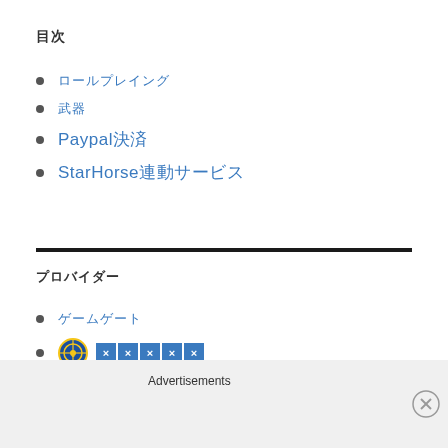目次
ロールプレイング
武器
Paypal決済
StarHorse連動サービス
プロバイダー
ゲームゲート
[logo] ×××××
Advertisements